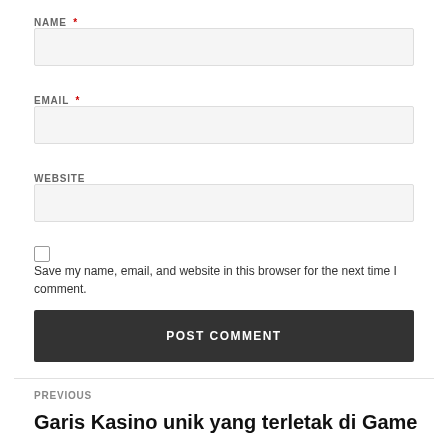NAME *
EMAIL *
WEBSITE
Save my name, email, and website in this browser for the next time I comment.
POST COMMENT
PREVIOUS
Garis Kasino unik yang terletak di Game